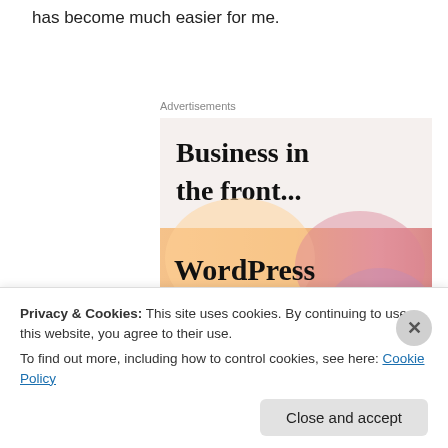has become much easier for me.
Advertisements
[Figure (illustration): WordPress advertisement banner: top section shows 'Business in the front...' text on a light beige background; bottom section shows 'WordPress in the back.' text on a colorful gradient background with orange, pink, and purple blob shapes.]
Privacy & Cookies: This site uses cookies. By continuing to use this website, you agree to their use.
To find out more, including how to control cookies, see here: Cookie Policy
Close and accept